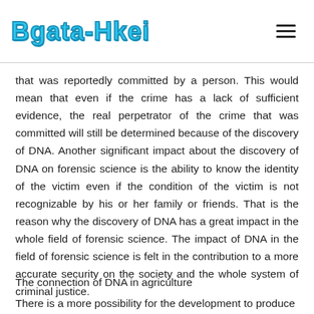Bgata-Hkei
that was reportedly committed by a person. This would mean that even if the crime has a lack of sufficient evidence, the real perpetrator of the crime that was committed will still be determined because of the discovery of DNA. Another significant impact about the discovery of DNA on forensic science is the ability to know the identity of the victim even if the condition of the victim is not recognizable by his or her family or friends. That is the reason why the discovery of DNA has a great impact in the whole field of forensic science. The impact of DNA in the field of forensic science is felt in the contribution to a more accurate security on the society and the whole system of criminal justice.
The connection of DNA in agriculture
There is a more possibility for the development to produce...